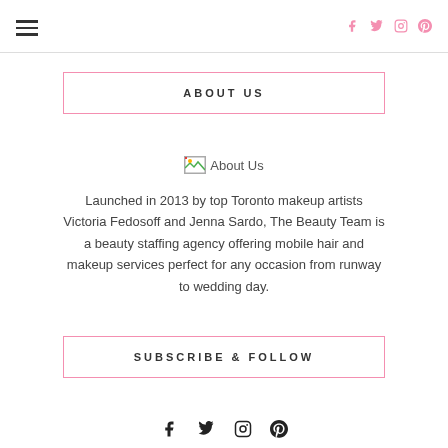☰ [social icons: f, twitter, instagram, pinterest]
ABOUT US
[Figure (photo): Broken image placeholder labelled 'About Us']
Launched in 2013 by top Toronto makeup artists Victoria Fedosoff and Jenna Sardo, The Beauty Team is a beauty staffing agency offering mobile hair and makeup services perfect for any occasion from runway to wedding day.
SUBSCRIBE & FOLLOW
Social icons: facebook, twitter, instagram, pinterest